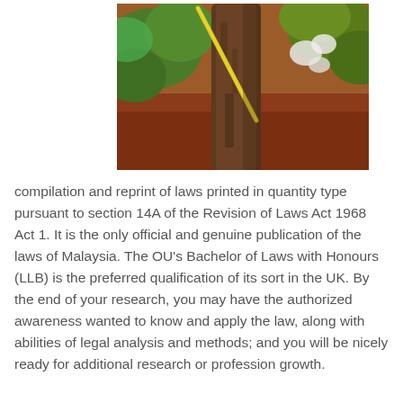[Figure (photo): Photograph of a tree trunk in a forest/garden setting with green foliage, red/brown ground, and white flowers. A diagonal yellow stick or rod leans against the trunk.]
compilation and reprint of laws printed in quantity type pursuant to section 14A of the Revision of Laws Act 1968 Act 1. It is the only official and genuine publication of the laws of Malaysia. The OU's Bachelor of Laws with Honours (LLB) is the preferred qualification of its sort in the UK. By the end of your research, you may have the authorized awareness wanted to know and apply the law, along with abilities of legal analysis and methods; and you will be nicely ready for additional research or profession growth.